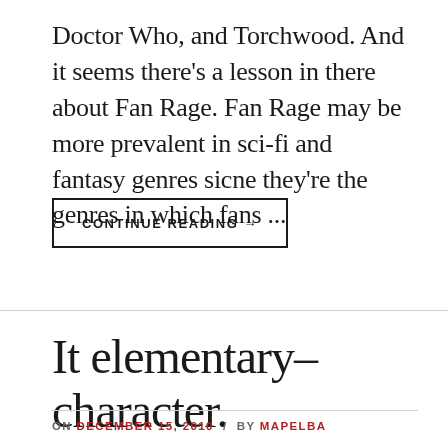Doctor Who, and Torchwood. And it seems there's a lesson in there about Fan Rage. Fan Rage may be more prevalent in sci-fi and fantasy genres sicne they're the genres in which fans ...
CONTINUE READING →
It elementary–character.
ON DECEMBER 15, 2010 / BY MAPELBA